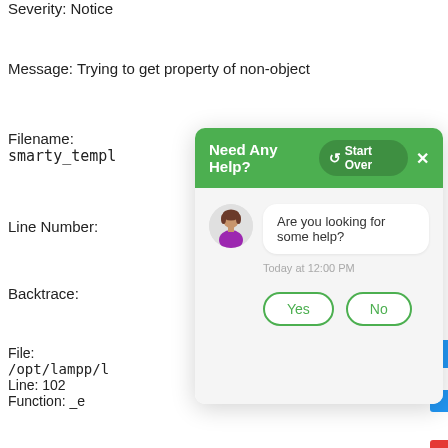Severity: Notice
Message: Trying to get property of non-object
Filename:
smarty_templ…
Line Number:
Backtrace:
File:
/opt/lampp/l…
Line: 102
Function: _e…
File:
/opt/lampp/l…
Line: 248
Function: ca…
File:
/opt/lampp/l…
Line: 184
[Figure (screenshot): Chat help widget overlay with green header 'Need Any Help?', start over button, close button, avatar, message 'Are you looking for some help?', timestamp 'Today at 12:00 PM', and Yes/No buttons]